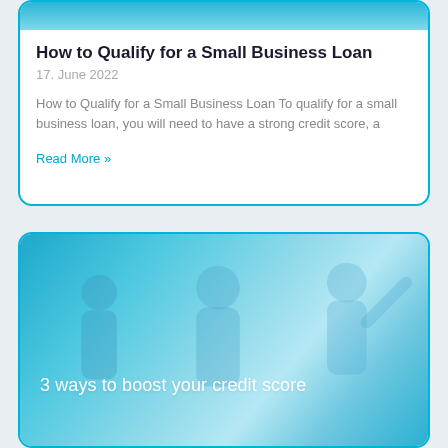[Figure (photo): Blue gradient banner image at top of first card]
How to Qualify for a Small Business Loan
17. June 2022
How to Qualify for a Small Business Loan To qualify for a small business loan, you will need to have a strong credit score, a
Read More »
[Figure (photo): Blue gradient image with silhouetted figures and text '3 ways to boost your credit score']